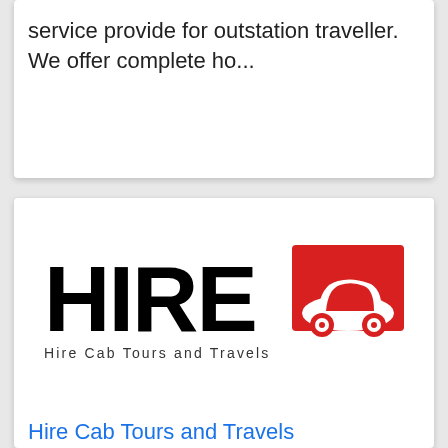service provide for outstation traveller. We offer complete ho...
[Figure (logo): Hire Cab Tours and Travels logo — bold black HIRE text with a red box containing a white car silhouette, and subtitle 'Hire Cab Tours and Travels']
Hire Cab Tours and Travels
Shop No 4 new shiv darshan building new golden post road, Mira Road, Thane, Maharashtra, India